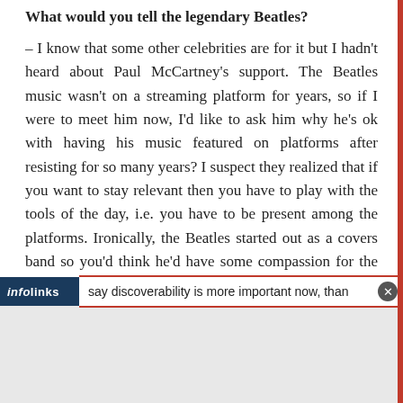What would you tell the legendary Beatles?
– I know that some other celebrities are for it but I hadn't heard about Paul McCartney's support. The Beatles music wasn't on a streaming platform for years, so if I were to meet him now, I'd like to ask him why he's ok with having his music featured on platforms after resisting for so many years? I suspect they realized that if you want to stay relevant then you have to play with the tools of the day, i.e. you have to be present among the platforms. Ironically, the Beatles started out as a covers band so you'd think he'd have some compassion for the newer artists who are trying to be discovered in this way.
say discoverability is more important now, than